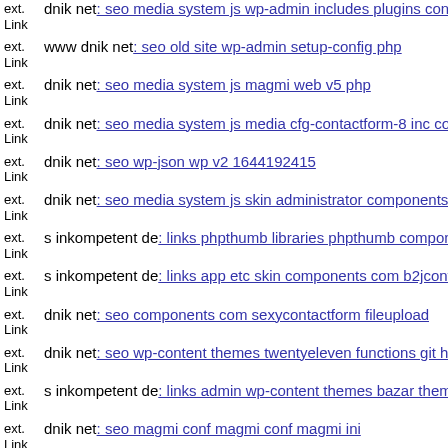ext. Link dnik net: seo media system js wp-admin includes plugins conte...
ext. Link www dnik net: seo old site wp-admin setup-config php
ext. Link dnik net: seo media system js magmi web v5 php
ext. Link dnik net: seo media system js media cfg-contactform-8 inc con...
ext. Link dnik net: seo wp-json wp v2 1644192415
ext. Link dnik net: seo media system js skin administrator components c...
ext. Link s inkompetent de: links phpthumb libraries phpthumb compone...
ext. Link s inkompetent de: links app etc skin components com b2jconta...
ext. Link dnik net: seo components com sexycontactform fileupload
ext. Link dnik net: seo wp-content themes twentyeleven functions git hea...
ext. Link s inkompetent de: links admin wp-content themes bazar theme...
ext. Link dnik net: seo magmi conf magmi conf magmi ini